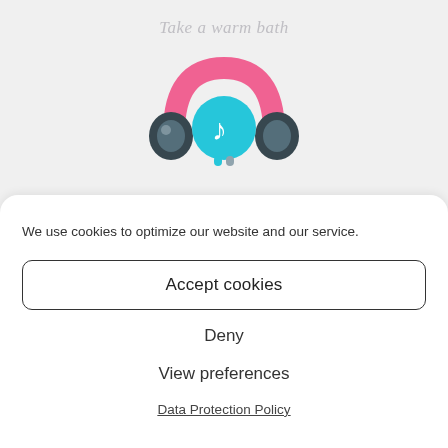Take a warm bath
[Figure (illustration): Colorful cartoon headphones icon with a teal circular badge showing a music note, pink headband, and dark ear cups]
We use cookies to optimize our website and our service.
Accept cookies
Deny
View preferences
Data Protection Policy